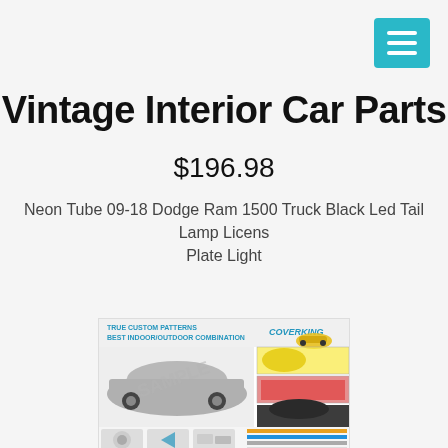Vintage Interior Car Parts
$196.98
Neon Tube 09-18 Dodge Ram 1500 Truck Black Led Tail Lamp License Plate Light
[Figure (photo): Product image from Coverking showing a car cover with a covered car and branding text 'TRUE CUSTOM PATTERNS BEST INDOOR/OUTDOOR COMBINATION'. Various feature thumbnails shown at bottom.]